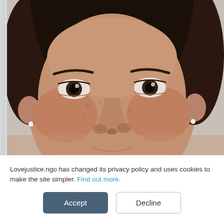[Figure (photo): Close-up portrait photo of a young girl with dark hair pulled back, dark eyes, light brown skin with freckles, small earrings, looking directly at the camera against a light gray background.]
Lovejustice.ngo has changed its privacy policy and uses cookies to make the site simpler. Find out more.
Accept
Decline